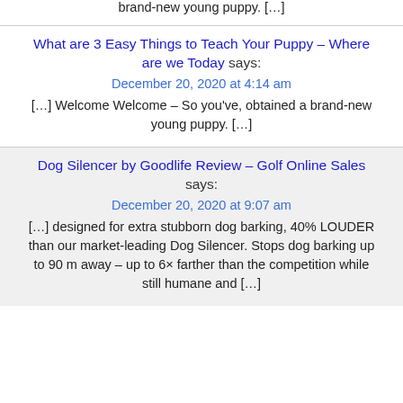brand-new young puppy. […]
What are 3 Easy Things to Teach Your Puppy – Where are we Today says:
December 20, 2020 at 4:14 am
[…] Welcome Welcome – So you've, obtained a brand-new young puppy. […]
Dog Silencer by Goodlife Review – Golf Online Sales says:
December 20, 2020 at 9:07 am
[…] designed for extra stubborn dog barking, 40% LOUDER than our market-leading Dog Silencer. Stops dog barking up to 90 m away – up to 6× farther than the competition while still humane and […]